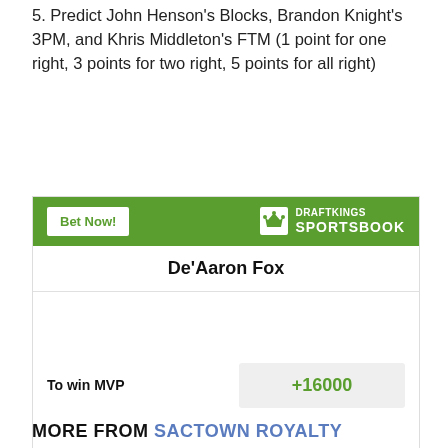5. Predict John Henson's Blocks, Brandon Knight's 3PM, and Khris Middleton's FTM (1 point for one right, 3 points for two right, 5 points for all right)
[Figure (other): DraftKings Sportsbook betting widget showing De'Aaron Fox with odds +16000 To win MVP. Widget has green header with 'Bet Now!' button and DraftKings Sportsbook logo.]
MORE FROM SACTOWN ROYALTY